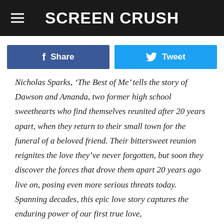SCREEN CRUSH
Share
Tweet
Nicholas Sparks, ‘The Best of Me’ tells the story of Dawson and Amanda, two former high school sweethearts who find themselves reunited after 20 years apart, when they return to their small town for the funeral of a beloved friend. Their bittersweet reunion reignites the love they’ve never forgotten, but soon they discover the forces that drove them apart 20 years ago live on, posing even more serious threats today. Spanning decades, this epic love story captures the enduring power of our first true love, and the wrenching choices we face when confronted with elusive second chances.